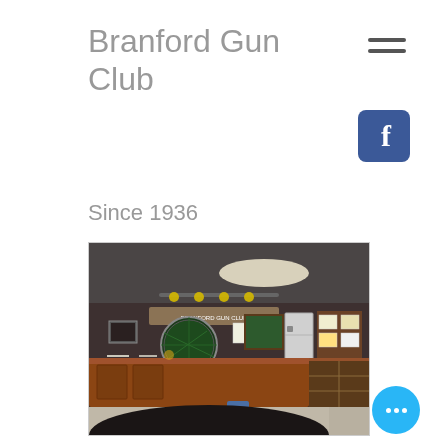Branford Gun Club
Since 1936
[Figure (photo): Interior of Branford Gun Club showing a wooden front counter/desk, dark wood-paneled walls, a large circular map or clock on the wall, a green chalkboard, a white cabinet/refrigerator, and shelving units on the right side. Overhead track lighting visible on the ceiling.]
[Figure (logo): Facebook logo button - blue square with rounded corners containing white 'f' letter]